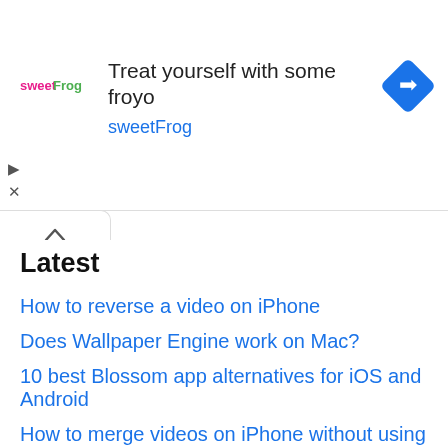[Figure (screenshot): Advertisement banner for sweetFrog frozen yogurt. Shows sweetFrog logo, text 'Treat yourself with some froyo' and 'sweetFrog', and a blue navigation/direction icon on the right.]
Latest
How to reverse a video on iPhone
Does Wallpaper Engine work on Mac?
10 best Blossom app alternatives for iOS and Android
How to merge videos on iPhone without using iMovie
Is LingoDeer worth it? A detailed review